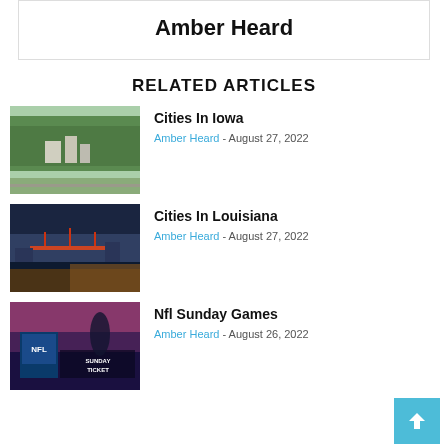Amber Heard
RELATED ARTICLES
[Figure (photo): Aerial view of Iowa city with trees and buildings]
Cities In Iowa
Amber Heard - August 27, 2022
[Figure (photo): Aerial night view of Louisiana city with bridge and lights]
Cities In Louisiana
Amber Heard - August 27, 2022
[Figure (photo): NFL Sunday Ticket promotional image with player silhouette and colorful sky]
Nfl Sunday Games
Amber Heard - August 26, 2022